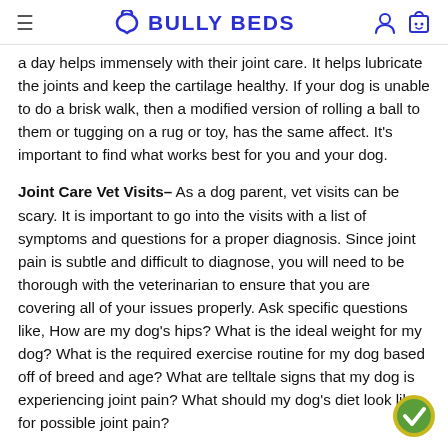BULLY BEDS
a day helps immensely with their joint care. It helps lubricate the joints and keep the cartilage healthy. If your dog is unable to do a brisk walk, then a modified version of rolling a ball to them or tugging on a rug or toy, has the same affect. It's important to find what works best for you and your dog.
Joint Care Vet Visits– As a dog parent, vet visits can be scary. It is important to go into the visits with a list of symptoms and questions for a proper diagnosis. Since joint pain is subtle and difficult to diagnose, you will need to be thorough with the veterinarian to ensure that you are covering all of your issues properly. Ask specific questions like, How are my dog's hips? What is the ideal weight for my dog? What is the required exercise routine for my dog based off of breed and age? What are telltale signs that my dog is experiencing joint pain? What should my dog's diet look like for possible joint pain?